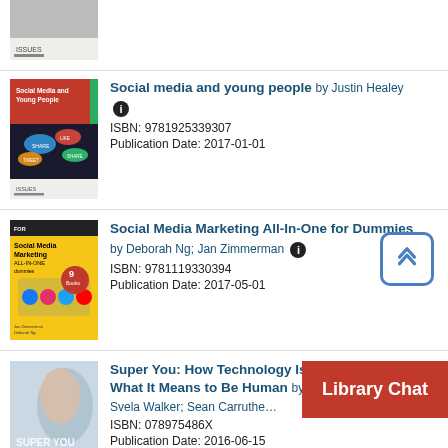[Figure (photo): Partial book cover at top (Issues series) — only bottom portion visible]
[Figure (photo): Book cover: Social Media and Young People by Justin Healey (Issues series, red/dark cover with social media speech bubbles)]
Social media and young people by Justin Healey
ISBN: 9781925339307
Publication Date: 2017-01-01
[Figure (photo): Book cover: Social Media Marketing All-In-One for Dummies (yellow Dummies cover with social media icons)]
Social Media Marketing All-In-One for Dummies by Deborah Ng; Jan Zimmerman
ISBN: 9781119330394
Publication Date: 2017-05-01
[Figure (photo): Book cover: Super You: How Technology Is Revolutionizing What It Means to Be Human (woman's face profile)]
Super You: How Technology Is Revolutionizing What It Means to Be Human by Andy Walker; Kay Svela Walker; Sean Carruthers
ISBN: 078975486X
Publication Date: 2016-06-15